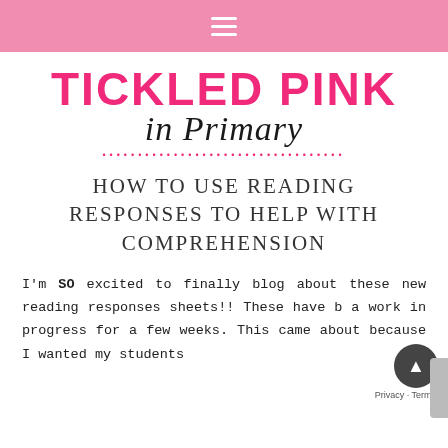≡
[Figure (logo): Tickled Pink in Primary blog logo with pink bold uppercase text and cursive script subtitle, dotted pink line decoration]
HOW TO USE READING RESPONSES TO HELP WITH COMPREHENSION
I'm SO excited to finally blog about these new reading responses sheets!! These have b a work in progress for a few weeks. This came about because I wanted my students